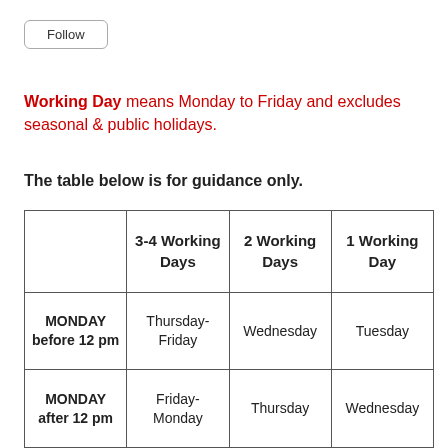Follow
Working Day means Monday to Friday and excludes seasonal & public holidays.
The table below is for guidance only.
|  | 3-4 Working Days | 2 Working Days | 1 Working Day |
| --- | --- | --- | --- |
| MONDAY before 12 pm | Thursday-Friday | Wednesday | Tuesday |
| MONDAY after 12 pm | Friday-Monday | Thursday | Wednesday |